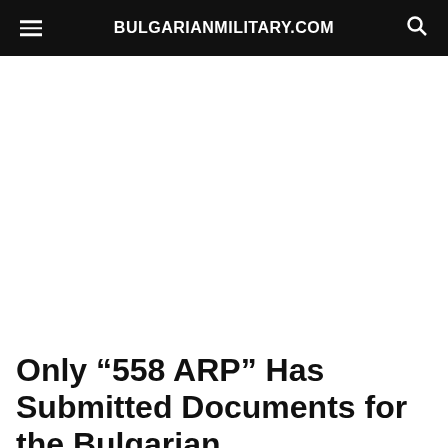BULGARIANMILITARY.COM
Only “558 ARP” Has Submitted Documents for the Bulgarian